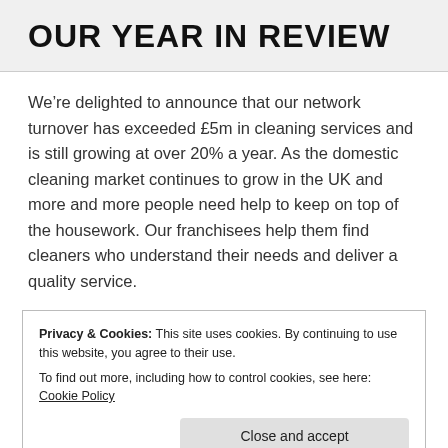OUR YEAR IN REVIEW
We're delighted to announce that our network turnover has exceeded £5m in cleaning services and is still growing at over 20% a year. As the domestic cleaning market continues to grow in the UK and more and more people need help to keep on top of the housework. Our franchisees help them find cleaners who understand their needs and deliver a quality service.
Privacy & Cookies: This site uses cookies. By continuing to use this website, you agree to their use.
To find out more, including how to control cookies, see here: Cookie Policy
Close and accept
forward seeing what the New Year will bring!